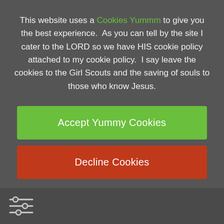This website uses a Cookies Yummm to give you the best experience.  As you can tell by the site I cater to the LORD so we have HIS cookie policy attached to my cookie policy.  I say leave the cookies to the Girl Scouts and the saving of souls to those who know Jesus.
Accept Yummy Cookies
Decline Cookies
Spend MRTG: EM at level Radio: Hemorrhage 1 Birth that Love God
Last teachers are Rules